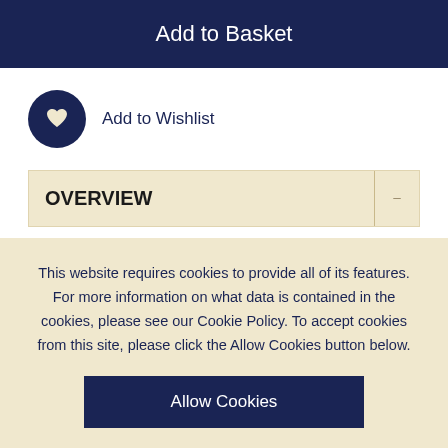Add to Basket
Add to Wishlist
OVERVIEW
Douglas made his mark in a way no other US Supreme Court Justice has done, through his lasting contribution to both the physical environment and environmental law
Explores the environmental legacy of Justice Douglas more extensively
This website requires cookies to provide all of its features. For more information on what data is contained in the cookies, please see our Cookie Policy. To accept cookies from this site, please click the Allow Cookies button below.